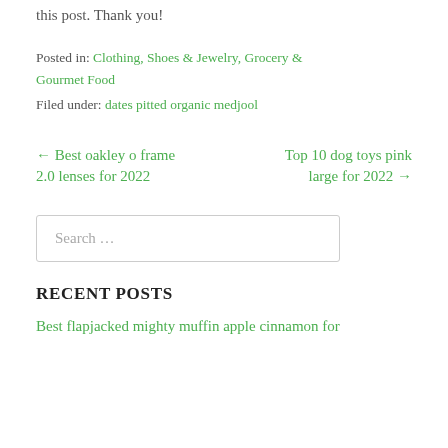this post. Thank you!
Posted in: Clothing, Shoes & Jewelry, Grocery & Gourmet Food
Filed under: dates pitted organic medjool
← Best oakley o frame 2.0 lenses for 2022
Top 10 dog toys pink large for 2022 →
Search …
RECENT POSTS
Best flapjacked mighty muffin apple cinnamon for